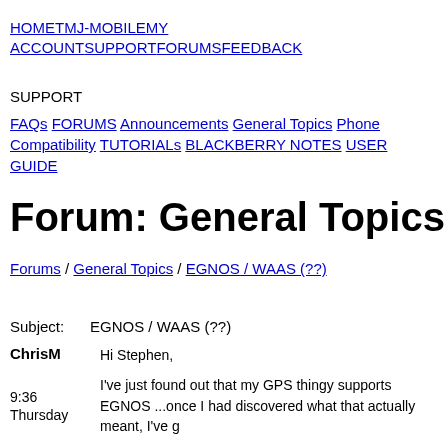HOME TMJ-MOBILE MY ACCOUNT SUPPORT FORUMS FEEDBACK
SUPPORT
FAQs FORUMS Announcements General Topics Phone Compatibility TUTORIALs BLACKBERRY NOTES USER GUIDE
Forum: General Topics
Forums / General Topics / EGNOS / WAAS (??)
| Subject: | EGNOS / WAAS (??) |
| --- | --- |
| ChrisM
9:36
Thursday | Hi Stephen,

I've just found out that my GPS thingy supports EGNOS ...once I had discovered what that actually meant, I've g |
Subject:  EGNOS / WAAS (??)
ChrisM
9:36
Thursday
Hi Stephen,
I've just found out that my GPS thingy supports EGNOS ...once I had discovered what that actually meant, I've g